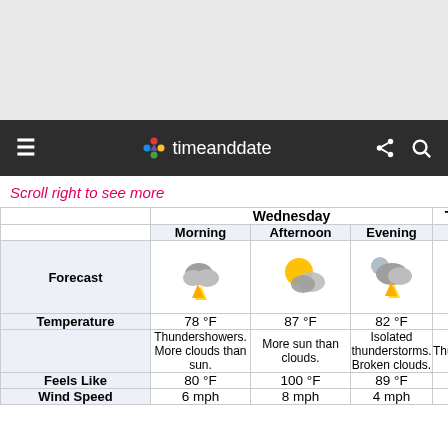[Figure (screenshot): Gray top banner area of a browser screenshot]
timeanddate - navigation bar with hamburger menu, logo, share and search icons
Scroll right to see more
|  | Wednesday - Morning | Wednesday - Afternoon | Wednesday - Evening | Thursday - Night |
| --- | --- | --- | --- | --- |
| Forecast | [thundershower icon] | [partly cloudy sunny icon] | [thunderstorm night icon] | [thunderstorm icon] |
| Temperature | 78 °F | 87 °F | 82 °F | 79 |
|  | Thundershowers. More clouds than sun. | More sun than clouds. | Isolated thunder-storms. Broken clouds. | Thunders... Broken |
| Feels Like | 80 °F | 100 °F | 89 °F | 83 |
| Wind Speed | 6 mph | 8 mph | 4 mph | 5 m |